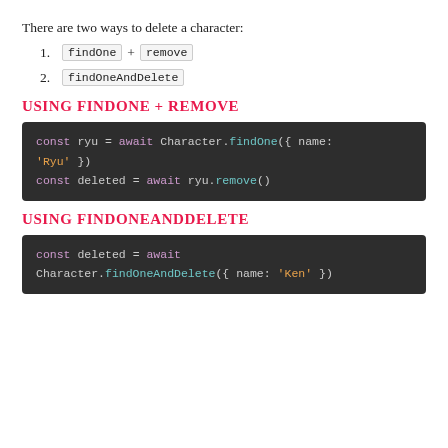There are two ways to delete a character:
findOne + remove
findOneAndDelete
Using findOne + remove
[Figure (screenshot): Code block showing: const ryu = await Character.findOne({ name: 'Ryu' })
const deleted = await ryu.remove()]
Using findOneAndDelete
[Figure (screenshot): Code block showing: const deleted = await Character.findOneAndDelete({ name: 'Ken' })]